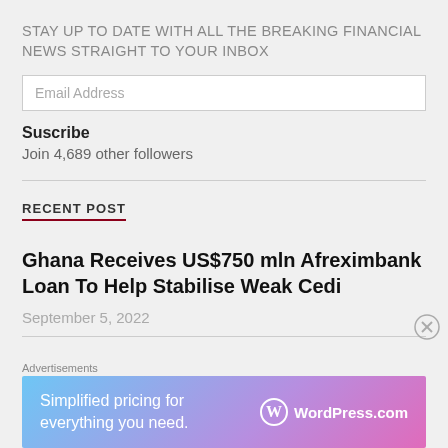STAY UP TO DATE WITH ALL THE BREAKING FINANCIAL NEWS STRAIGHT TO YOUR INBOX
Email Address
Suscribe
Join 4,689 other followers
RECENT POST
Ghana Receives US$750 mln Afreximbank Loan To Help Stabilise Weak Cedi
September 5, 2022
Advertisements
[Figure (other): WordPress.com advertisement banner: 'Simplified pricing for everything you need.']